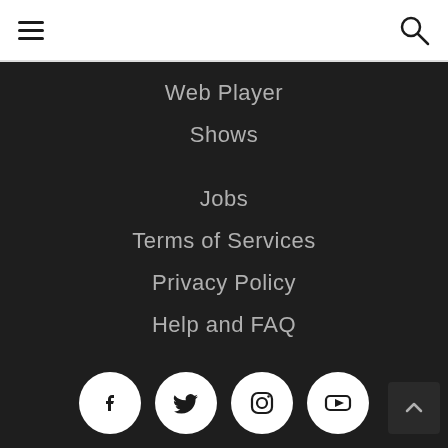Navigation header with hamburger menu and search icon
Web Player
Shows
Jobs
Terms of Services
Privacy Policy
Help and FAQ
[Figure (illustration): Social media icons row: Facebook, Twitter, Instagram, YouTube circular icons on dark background, with a back-to-top arrow button on the right]